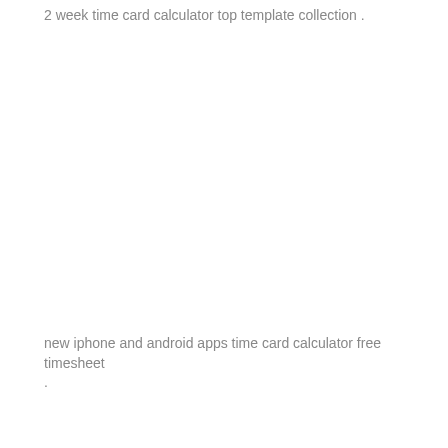2 week time card calculator top template collection .
new iphone and android apps time card calculator free timesheet
.
time sheet .